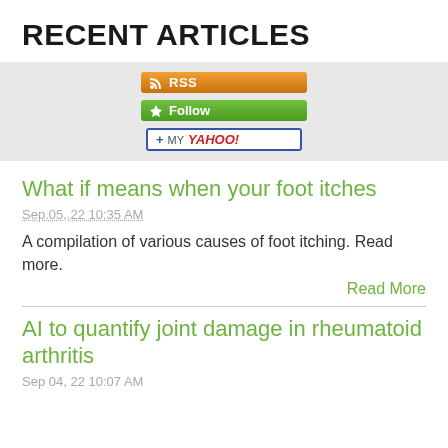RECENT ARTICLES
[Figure (other): RSS feed subscription buttons: RSS (orange), Follow (green), Add to My Yahoo! (white/blue border)]
What if means when your foot itches
Sep 05, 22 10:35 AM
A compilation of various causes of foot itching. Read more.
Read More
AI to quantify joint damage in rheumatoid arthritis
Sep 04, 22 10:07 AM